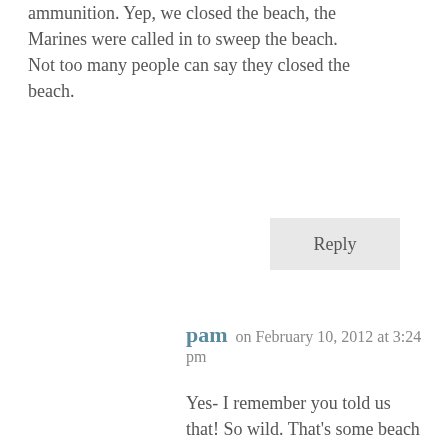ammunition. Yep, we closed the beach, the Marines were called in to sweep the beach. Not too many people can say they closed the beach.
Reply
pam on February 10, 2012 at 3:24 pm
Yes- I remember you told us that! So wild. That's some beach blingity blang Bang! Nope I can't say I've ever been the cause of closing the beach down. When you beach comb, you really dig deep! ')
Reply